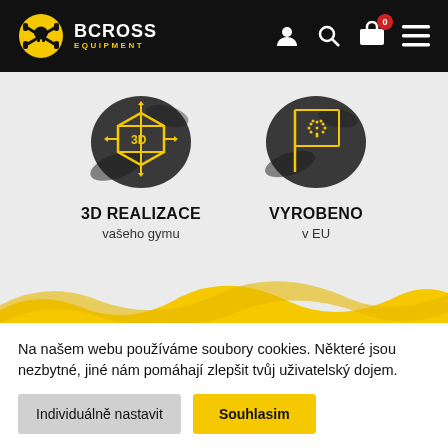[Figure (logo): BCross Equipment logo with yellow skull/dumbbell icon and white text on black header bar]
[Figure (illustration): 3D icon in yellow on dark circular background with paintbrush stroke effect, labeled '3D REALIZACE vašeho gymu']
3D REALIZACE
vašeho gymu
[Figure (illustration): EU flag icon in yellow on dark circular background with paintbrush stroke effect, labeled 'VYROBENO v EU']
VYROBENO
v EU
[Figure (illustration): Yellow paint brush stroke band across the page]
Na našem webu používáme soubory cookies. Některé jsou nezbytné, jiné nám pomáhají zlepšit tvůj uživatelský dojem.
Individuálně nastavit
Souhlasim